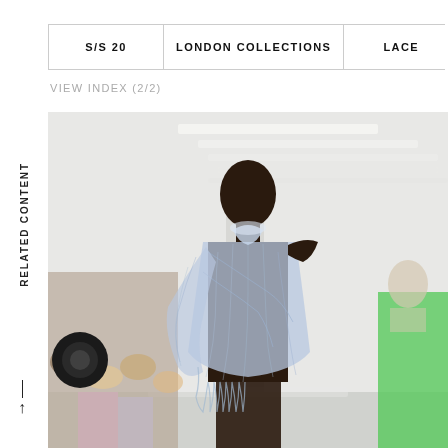RELATED CONTENT
S/S 20
LONDON COLLECTIONS
LACE
VIEW INDEX (2/2)
[Figure (photo): Fashion runway photo: a dark-skinned model wearing a light blue/periwinkle sheer lace open-knit one-shoulder halter dress with long draped sleeve, walking a white runway. Audience visible in background. A second model in a bright green dress is visible in the far background right.]